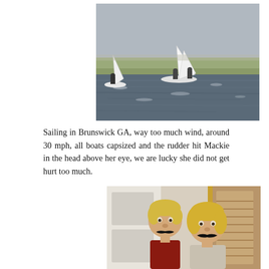[Figure (photo): Two sailboats on choppy water with people aboard, white sails up, near a sandy shoreline with dry grass and a grey sky. Black and white photograph.]
Sailing in Brunswick GA, way too much wind, around 30 mph, all boats capsized and the rudder hit Mackie in the head above her eye, we are lucky she did not get hurt too much.
[Figure (photo): A young blonde toddler and a blonde woman, both wearing fake stick-on mustaches, posing together indoors near a door.]